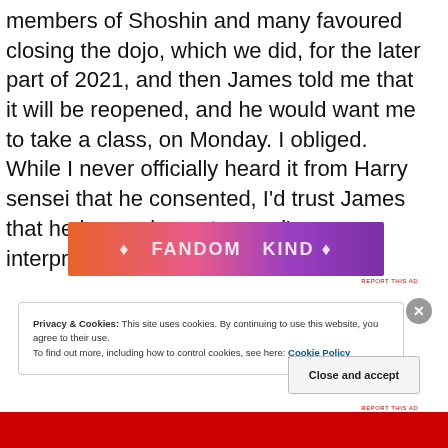members of Shoshin and many favoured closing the dojo, which we did, for the later part of 2021, and then James told me that it will be reopened, and he would want me to take a class, on Monday. I obliged. While I never officially heard it from Harry sensei that he consented, I'd trust James that he is carrying out sensei's interpretations the best he could.
[Figure (other): Advertisement banner with colorful gradient background (orange to pink to purple) with decorative text and icons]
REPORT THIS AD
Privacy & Cookies: This site uses cookies. By continuing to use this website, you agree to their use.
To find out more, including how to control cookies, see here: Cookie Policy
Close and accept